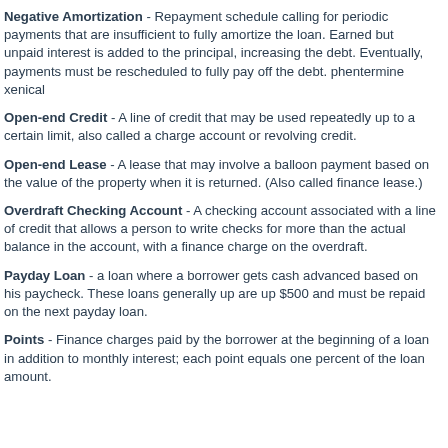Negative Amortization - Repayment schedule calling for periodic payments that are insufficient to fully amortize the loan. Earned but unpaid interest is added to the principal, increasing the debt. Eventually, payments must be rescheduled to fully pay off the debt. phentermine xenical
Open-end Credit - A line of credit that may be used repeatedly up to a certain limit, also called a charge account or revolving credit.
Open-end Lease - A lease that may involve a balloon payment based on the value of the property when it is returned. (Also called finance lease.)
Overdraft Checking Account - A checking account associated with a line of credit that allows a person to write checks for more than the actual balance in the account, with a finance charge on the overdraft.
Payday Loan - a loan where a borrower gets cash advanced based on his paycheck. These loans generally up are up $500 and must be repaid on the next payday loan.
Points - Finance charges paid by the borrower at the beginning of a loan in addition to monthly interest; each point equals one percent of the loan amount.